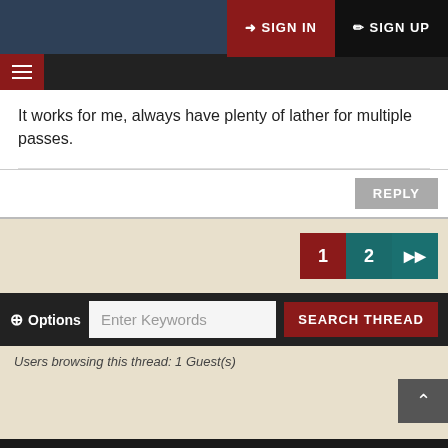SIGN IN   SIGN UP
It works for me, always have plenty of lather for multiple passes.
REPLY
1  2  ▶▶
+ Options   Enter Keywords   SEARCH THREAD
Users browsing this thread: 1 Guest(s)
ABOUT SHAVE NOOK
Shave Nook is a place to discuss the fine art of wet shaving